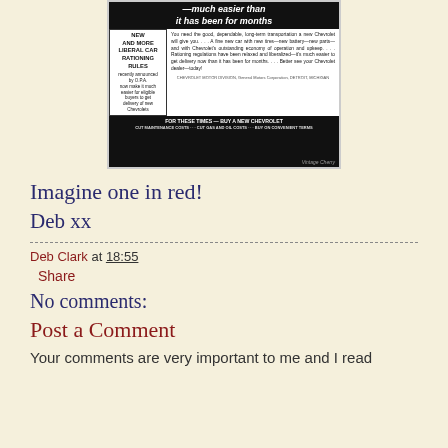[Figure (photo): Vintage Chevrolet newspaper advertisement showing car rationing rules and text about easier delivery, with tagline 'FOR THESE TIMES — BUY A NEW CHEVROLET']
Imagine one in red!
Deb xx
Deb Clark at 18:55
Share
No comments:
Post a Comment
Your comments are very important to me and I read